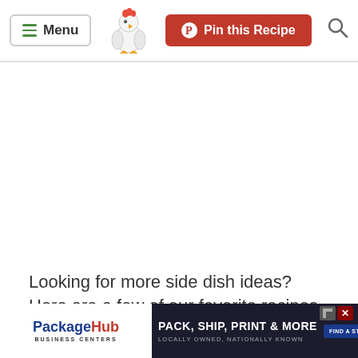Menu | Pin this Recipe
Looking for more side dish ideas? Here are a few of our favorite recipes from the blog that go great with this steak wrap recipe:
[Figure (photo): Partial thumbnail of a food photo at bottom left]
[Figure (infographic): PackageHub advertisement banner: PACK, SHIP, PRINT & MORE — LOCALLY OWNED, NATIONALLY KNOWN — FIND A STORE]